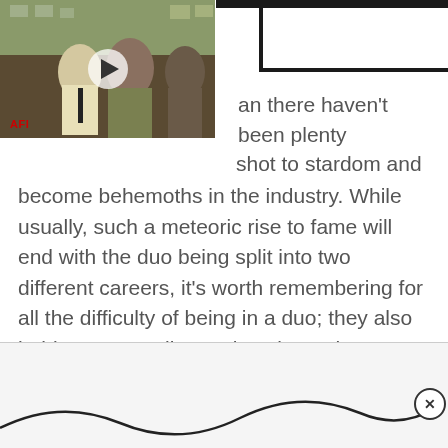[Figure (screenshot): Video thumbnail showing two people, labeled AFI, with a play button overlay]
an there haven't been plenty shot to stardom and become behemoths in the industry. While usually, such a meteoric rise to fame will end with the duo being split into two different careers, it's worth remembering for all the difficulty of being in a duo; they also hold an extraordinary place in our hearts.